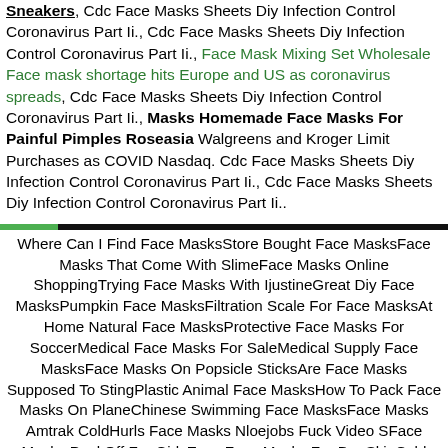Sneakers, Cdc Face Masks Sheets Diy Infection Control Coronavirus Part Ii., Cdc Face Masks Sheets Diy Infection Control Coronavirus Part Ii., Face Mask Mixing Set Wholesale Face mask shortage hits Europe and US as coronavirus spreads, Cdc Face Masks Sheets Diy Infection Control Coronavirus Part Ii., Masks Homemade Face Masks For Painful Pimples Roseasia Walgreens and Kroger Limit Purchases as COVID Nasdaq. Cdc Face Masks Sheets Diy Infection Control Coronavirus Part Ii., Cdc Face Masks Sheets Diy Infection Control Coronavirus Part Ii..
Where Can I Find Face MasksStore Bought Face MasksFace Masks That Come With SlimeFace Masks Online ShoppingTrying Face Masks With IjustineGreat Diy Face MasksPumpkin Face MasksFiltration Scale For Face MasksAt Home Natural Face MasksProtective Face Masks For SoccerMedical Face Masks For SaleMedical Supply Face MasksFace Masks On Popsicle SticksAre Face Masks Supposed To StingPlastic Animal Face MasksHow To Pack Face Masks On PlaneChinese Swimming Face MasksFace Masks Amtrak ColdHurls Face Masks Nloejobs Fuck Video SFace Masks Peel Off For GirlsEasy Face Masks For Dry SkinCold Weather Face Masks MotorcycleBest Types Of Full Face Cpan Masks For Side SleepersPlI Face Masks